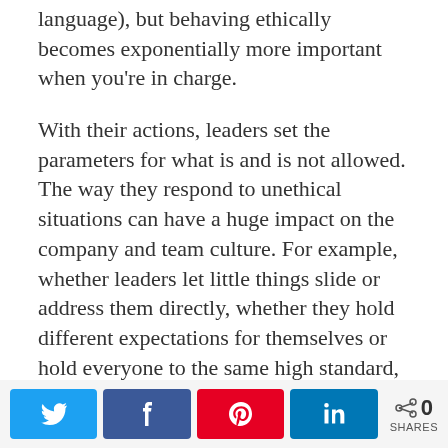language), but behaving ethically becomes exponentially more important when you're in charge.
With their actions, leaders set the parameters for what is and is not allowed. The way they respond to unethical situations can have a huge impact on the company and team culture. For example, whether leaders let little things slide or address them directly, whether they hold different expectations for themselves or hold everyone to the same high standard, and whether they avoid accountability or take responsibility for their contributions to problems all affect the way their team will
[Figure (infographic): Social share bar with Twitter, Facebook, Pinterest, LinkedIn buttons and a share count of 0 SHARES]